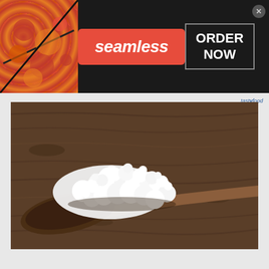[Figure (screenshot): Seamless food delivery advertisement banner with pizza image on left, Seamless logo in red box center, and ORDER NOW button on right]
[Figure (photo): Close-up photo of kefir grains (white lumpy fermented milk culture) on a dark wooden spoon against a rustic wood background]
[Figure (screenshot): Petco advertisement: BUY ONE GET ONE 50% OFF on dog joint supplements. Shows woman with golden retriever dog and supplement bottle. SHOP NOW button.]